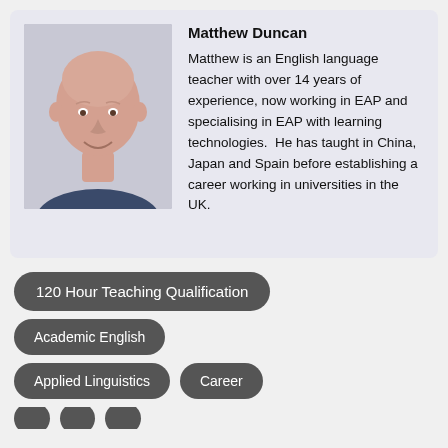[Figure (photo): Headshot photo of Matthew Duncan, a bald man smiling, wearing a dark blue shirt, against a light background.]
Matthew Duncan
Matthew is an English language teacher with over 14 years of experience, now working in EAP and specialising in EAP with learning technologies.  He has taught in China, Japan and Spain before establishing a career working in universities in the UK.
120 Hour Teaching Qualification
Academic English
Applied Linguistics
Career